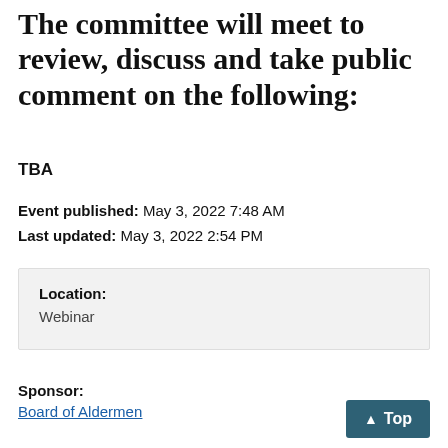The committee will meet to review, discuss and take public comment on the following:
TBA
Event published: May 3, 2022 7:48 AM
Last updated: May 3, 2022 2:54 PM
Location:
Webinar
Sponsor:
Board of Aldermen